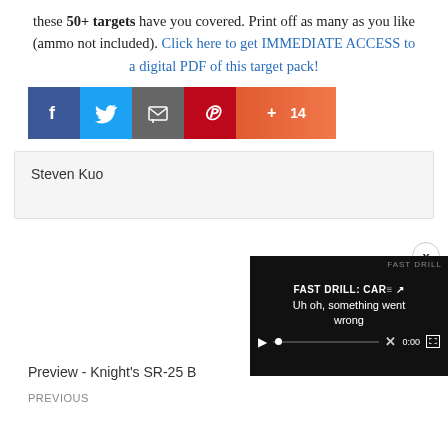these 50+ targets have you covered. Print off as many as you like (ammo not included). Click here to get IMMEDIATE ACCESS to a digital PDF of this target pack!
[Figure (screenshot): Social media share buttons: Facebook (dark blue), Twitter (light blue), Email (dark gray), Pinterest (red), Google+ (orange) with count 14]
Steven Kuo
[Figure (screenshot): Video overlay showing 'FAST DRILL: CAR' title, 'Uh oh, something went wrong' error message, with video controls showing 0:00 time]
Preview - Knight's SR-25 B
PREVIOUS